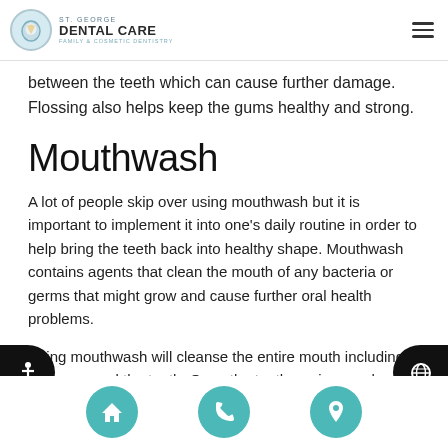ST. GEORGE DENTAL CARE FAMILY & COSMETIC DENTISTRY
between the teeth which can cause further damage. Flossing also helps keep the gums healthy and strong.
Mouthwash
A lot of people skip over using mouthwash but it is important to implement it into one's daily routine in order to help bring the teeth back into healthy shape. Mouthwash contains agents that clean the mouth of any bacteria or germs that might grow and cause further oral health problems.
Using mouthwash will cleanse the entire mouth including the gums and the teeth. Once the teeth are in an unhealthy condition, using mouthwash can help restore the enamel by
Home | Phone | Location navigation buttons